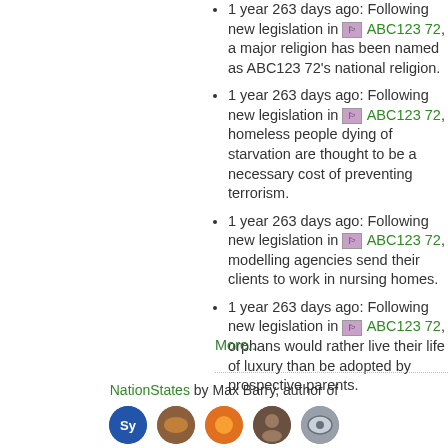1 year 263 days ago: Following new legislation in ABC123 72, a major religion has been named as ABC123 72's national religion.
1 year 263 days ago: Following new legislation in ABC123 72, homeless people dying of starvation are thought to be a necessary cost of preventing terrorism.
1 year 263 days ago: Following new legislation in ABC123 72, modelling agencies send their clients to work in nursing homes.
1 year 263 days ago: Following new legislation in ABC123 72, orphans would rather live their life of luxury than be adopted by prospective parents.
More...
NationStates by Max Barry, author of